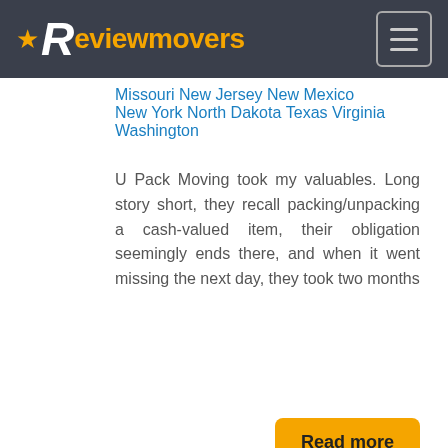★Reviewmovers
Missouri New Jersey New Mexico New York North Dakota Texas Virginia Washington
U Pack Moving took my valuables. Long story short, they recall packing/unpacking a cash-valued item, their obligation seemingly ends there, and when it went missing the next day, they took two months
Read more
[Figure (logo): National Express Moving logo with box and cart icon. Text: 'National Express Moving – Box it. Move it']